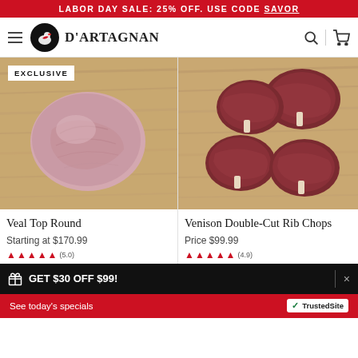LABOR DAY SALE: 25% OFF. USE CODE SAVOR
[Figure (logo): D'Artagnan brand logo with duck emblem and wordmark]
[Figure (photo): Veal Top Round raw meat on wood cutting board with EXCLUSIVE badge]
[Figure (photo): Venison Double-Cut Rib Chops raw meat pieces on wood cutting board]
Veal Top Round
Venison Double-Cut Rib Chops
Starting at $170.99
Price $99.99
GET $30 OFF $99!
See today's specials